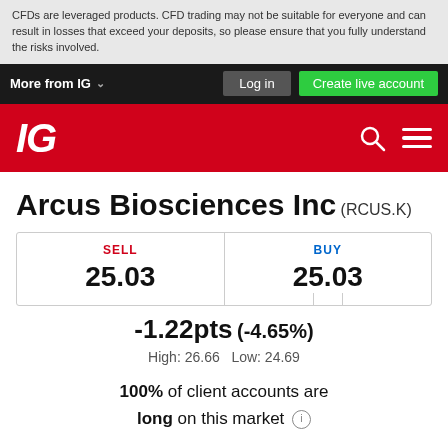CFDs are leveraged products. CFD trading may not be suitable for everyone and can result in losses that exceed your deposits, so please ensure that you fully understand the risks involved.
More from IG   Log in   Create live account
[Figure (logo): IG logo on red background with search and menu icons]
Arcus Biosciences Inc (RCUS.K)
| SELL | BUY |
| --- | --- |
| 25.03 | 25.03 |
-1.22pts (-4.65%)
High: 26.66   Low: 24.69
100% of client accounts are long on this market